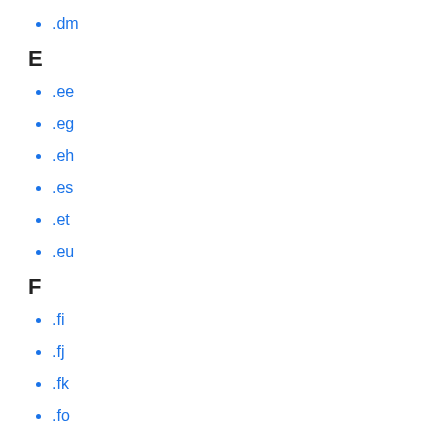.dm
E
.ee
.eg
.eh
.es
.et
.eu
F
.fi
.fj
.fk
.fo